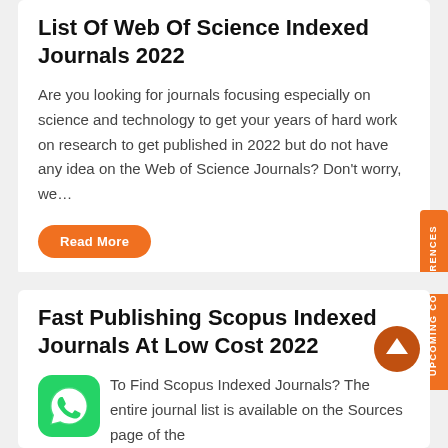List Of Web Of Science Indexed Journals 2022
Are you looking for journals focusing especially on science and technology to get your years of hard work on research to get published in 2022 but do not have any idea on the Web of Science Journals? Don't worry, we…
Read More
Fast Publishing Scopus Indexed Journals At Low Cost 2022
To Find Scopus Indexed Journals? The entire journal list is available on the Sources page of the